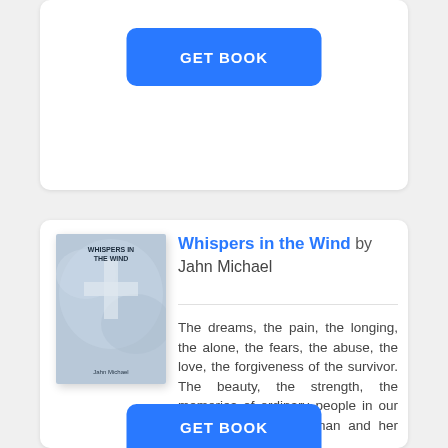[Figure (other): GET BOOK button (blue, rounded rectangle) inside a white card (top, partial view)]
[Figure (illustration): Book cover for 'Whispers in the Wind' by Jahn Michael — blue/grey tones with abstract cross-like figure]
Whispers in the Wind by Jahn Michael
The dreams, the pain, the longing, the alone, the fears, the abuse, the love, the forgiveness of the survivor. The beauty, the strength, the memories of ordinary people in our lives. A homeless woman and her friends who aband ...
[Figure (other): GET BOOK button (blue, rounded rectangle) at the bottom of the second card]